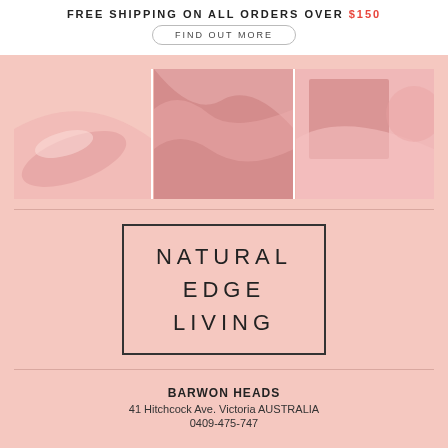FREE SHIPPING ON ALL ORDERS OVER $150
FIND OUT MORE
[Figure (photo): Abstract pink decorative shapes in three panels]
[Figure (logo): Natural Edge Living logo in a rectangular border]
BARWON HEADS
41 Hitchcock Ave. Victoria AUSTRALIA
0409-475-747